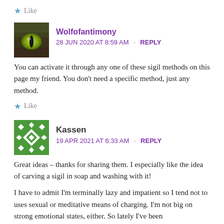★ Like
Wolfofantimony
28 JUN 2020 AT 8:59 AM · REPLY
You can activate it through any one of these sigil methods on this page my friend. You don't need a specific method, just any method.
★ Like
Kassen
19 APR 2021 AT 6:33 AM · REPLY
Great ideas – thanks for sharing them. I especially like the idea of carving a sigil in soap and washing with it!
I have to admit I'm terminally lazy and impatient so I tend not to uses sexual or meditative means of charging. I'm not big on strong emotional states, either. So lately I've been